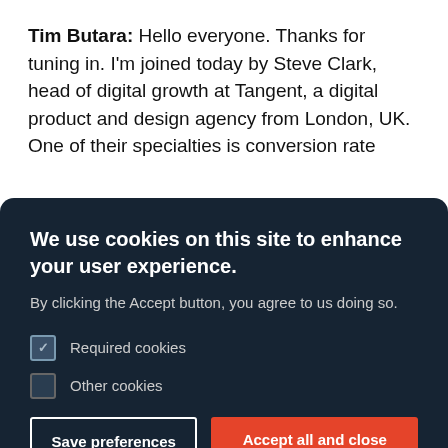Tim Butara: Hello everyone. Thanks for tuning in. I'm joined today by Steve Clark, head of digital growth at Tangent, a digital product and design agency from London, UK. One of their specialties is conversion rate
[Figure (screenshot): Cookie consent banner with dark navy background. Contains bold title 'We use cookies on this site to enhance your user experience.', descriptive text, two checkboxes for Required cookies and Other cookies, Save preferences and Accept all and close buttons, and a More info link with arrow.]